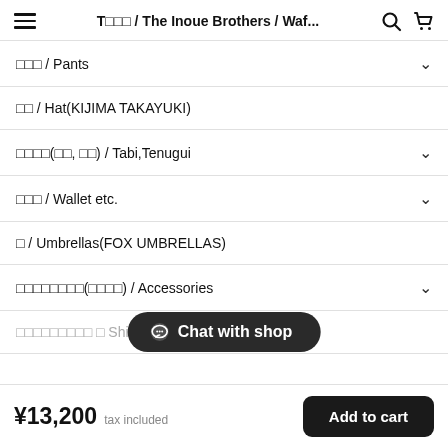T□□□ / The Inoue Brothers / Waf...
□□□ / Pants
□□ / Hat(KIJIMA TAKAYUKI)
□□□□(□□, □□) / Tabi,Tenugui
□□□ / Wallet etc.
□ / Umbrellas(FOX UMBRELLAS)
□□□□□□□□(□□□□) / Accessories
□□□□□□□□□ □ Shipping
Chat with shop
¥13,200 tax included  Add to cart